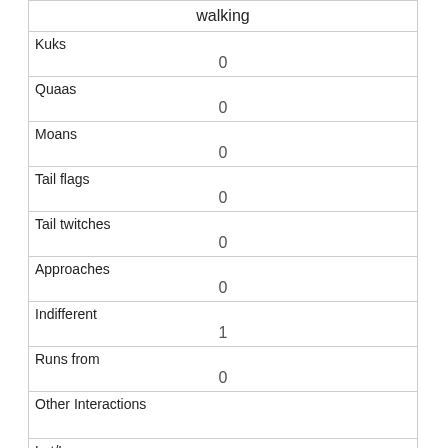| walking |
| --- |
| Kuks | 0 |
| Quaas | 0 |
| Moans | 0 |
| Tail flags | 0 |
| Tail twitches | 0 |
| Approaches | 0 |
| Indifferent | 1 |
| Runs from | 0 |
| Other Interactions |  |
| Lat/Long |  |